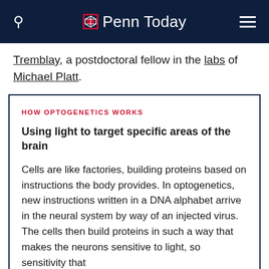Penn Today
Tremblay, a postdoctoral fellow in the labs of Michael Platt.
HOW OPTOGENETICS WORKS
Using light to target specific areas of the brain
Cells are like factories, building proteins based on instructions the body provides. In optogenetics, new instructions written in a DNA alphabet arrive in the neural system by way of an injected virus. The cells then build proteins in such a way that makes the neurons sensitive to light, so sensitivity that